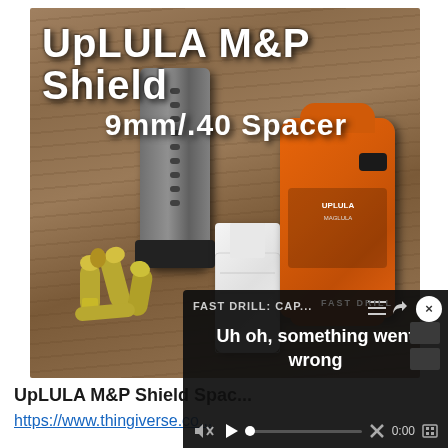[Figure (photo): Product photo showing an UpLULA M&P Shield 9mm/.40 Spacer with text overlay. Image shows a gun magazine, bullets, a white 3D-printed plastic spacer, and an orange UpLULA magazine loader on a wooden surface.]
UpLULA M&P Shield Spac...
https://www.thingiverse.co...
[Figure (screenshot): Video player error overlay showing 'FAST DRILL: CAP...' title with error message 'Uh oh, something went wrong' and video controls including mute, play, progress bar, close (X), time 0:00, and fullscreen button. Close button (x) visible in top right corner.]